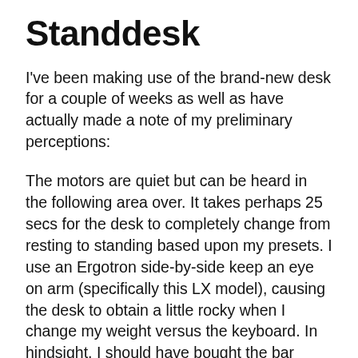Standdesk
I've been making use of the brand-new desk for a couple of weeks as well as have actually made a note of my preliminary perceptions:
The motors are quiet but can be heard in the following area over. It takes perhaps 25 secs for the desk to completely change from resting to standing based upon my presets. I use an Ergotron side-by-side keep an eye on arm (specifically this LX model), causing the desk to obtain a little rocky when I change my weight versus the keyboard. In hindsight, I should have bought the bar upgrade for my workdesk after identifying the weight of my displays. If you plan to do a